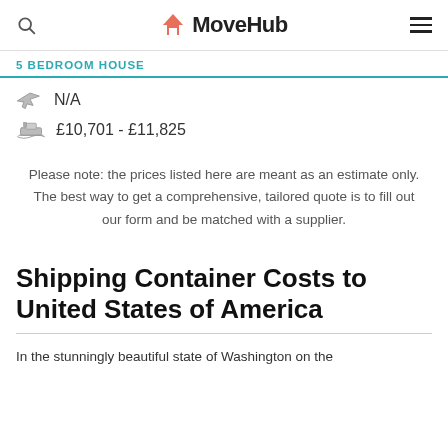MoveHub
5 BEDROOM HOUSE
N/A
£10,701 - £11,825
Please note: the prices listed here are meant as an estimate only. The best way to get a comprehensive, tailored quote is to fill out our form and be matched with a supplier.
Shipping Container Costs to United States of America
In the stunningly beautiful state of Washington on the